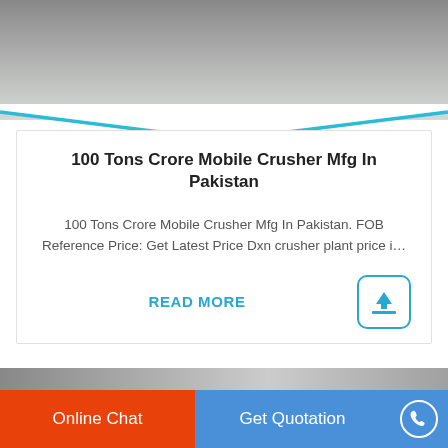[Figure (photo): Top portion of a photo showing heavy machinery or industrial equipment on a flat surface, partially visible.]
100 Tons Crore Mobile Crusher Mfg In Pakistan
100 Tons Crore Mobile Crusher Mfg In Pakistan. FOB Reference Price: Get Latest Price Dxn crusher plant price i…
READ MORE
[Figure (photo): Bottom portion showing industrial/concrete structure, partially cropped.]
Online Chat
Get Quotation